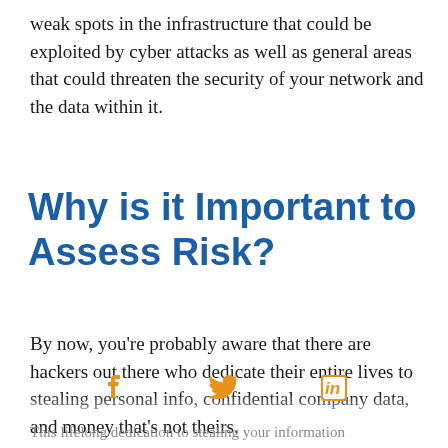weak spots in the infrastructure that could be exploited by cyber attacks as well as general areas that could threaten the security of your network and the data within it.
Why is it Important to Assess Risk?
By now, you're probably aware that there are hackers out there who dedicate their entire lives to stealing personal info, confidential company data, and money that's not theirs.
This lifelong dedication to stealing your information...